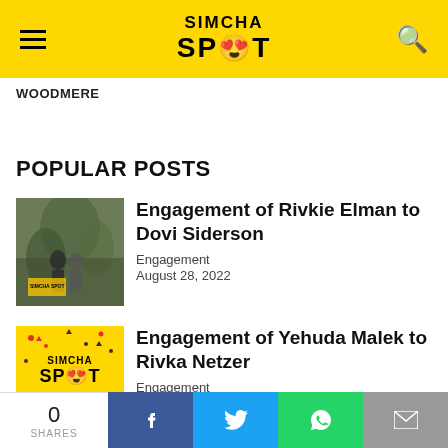SIMCHA SPOT
WOODMERE
POPULAR POSTS
[Figure (photo): Couple standing in a forest/garden setting, engagement photo thumbnail]
Engagement of Rivkie Elman to Dovi Siderson
Engagement
August 28, 2022
[Figure (illustration): Yellow Simcha Spot Mazal Tov graphic with confetti]
Engagement of Yehuda Malek to Rivka Netzer
Engagement
August 28, 2022
0 SHARES | Facebook | Twitter | WhatsApp | Email